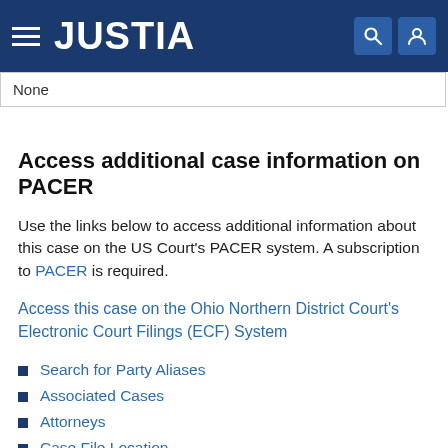JUSTIA
None
Access additional case information on PACER
Use the links below to access additional information about this case on the US Court's PACER system. A subscription to PACER is required.
Access this case on the Ohio Northern District Court's Electronic Court Filings (ECF) System
Search for Party Aliases
Associated Cases
Attorneys
Case File Location
Case Summary
Docket Report
History/Documents